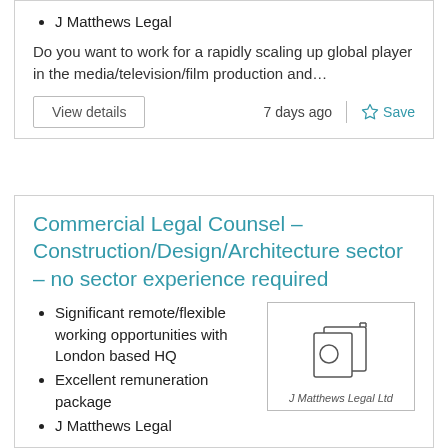J Matthews Legal
Do you want to work for a rapidly scaling up global player in the media/television/film production and…
View details   7 days ago   Save
Commercial Legal Counsel – Construction/Design/Architecture sector – no sector experience required
Significant remote/flexible working opportunities with London based HQ
Excellent remuneration package
J Matthews Legal
[Figure (logo): J Matthews Legal Ltd company logo — stylized folder/document icon with text 'J Matthews Legal Ltd' below]
Do you want to work for one of the world's leading